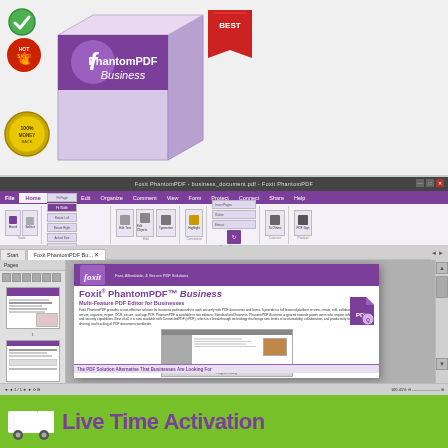[Figure (screenshot): Foxit PhantomPDF Business product box with checkmark, hot sale badge, guarantee badge, and BEST badge]
[Figure (screenshot): Screenshot of Foxit PhantomPDF Business application showing the ribbon UI, page thumbnails panel, and an open PDF document with the Foxit branding and product description]
Live Time Activation